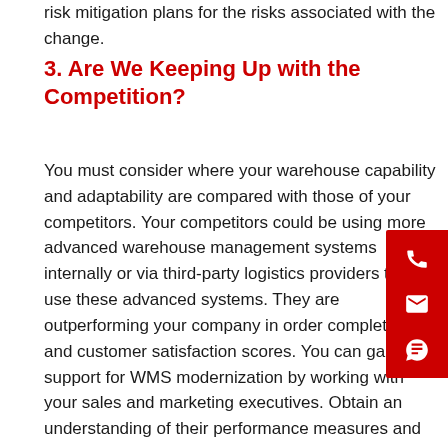risk mitigation plans for the risks associated with the change.
3.  Are We Keeping Up with the Competition?
You must consider where your warehouse capability and adaptability are compared with those of your competitors. Your competitors could be using more advanced warehouse management systems internally or via third-party logistics providers that use these advanced systems. They are outperforming your company in order completion and customer satisfaction scores. You can gain support for WMS modernization by working with your sales and marketing executives. Obtain an understanding of their performance measures and metrics, and how a new WMS could enhance their performance. You might face some resistance from finance teams with short-term cost-cutting goals, creating obstacles to further investment. But highlighting the opportunities